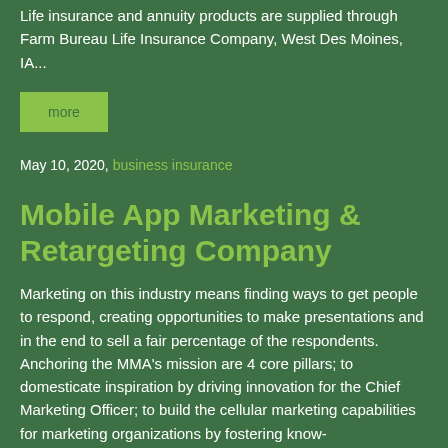Life insurance and annuity products are supplied through Farm Bureau Life Insurance Company, West Des Moines, IA...
more
May 10, 2020, business insurance
Mobile App Marketing & Retargeting Company
Marketing on this industry means finding ways to get people to respond, creating opportunities to make presentations and in the end to sell a fair percentage of the respondents. Anchoring the MMA's mission are 4 core pillars; to domesticate inspiration by driving innovation for the Chief Marketing Officer; to build the cellular marketing capabilities for marketing organizations by fostering know-